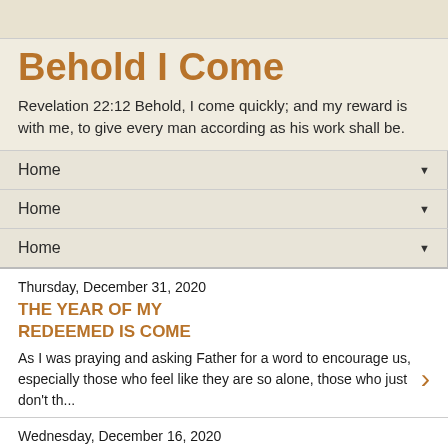Behold I Come
Revelation 22:12 Behold, I come quickly; and my reward is with me, to give every man according as his work shall be.
Home
Home
Home
Thursday, December 31, 2020
THE YEAR OF MY REDEEMED IS COME
As I was praying and asking Father for a word to encourage us, especially those who feel like they are so alone, those who just don't th...
Wednesday, December 16, 2020